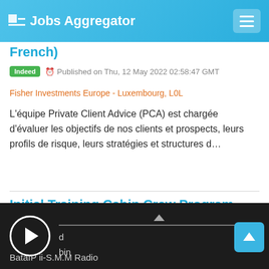Jobs Aggregator
French)
Indeed  Published on Thu, 12 May 2022 02:58:47 GMT
Fisher Investments Europe - Luxembourg, L0L
L'équipe Private Client Advice (PCA) est chargée d'évaluer les objectifs de nos clients et prospects, leurs profils de risque, leurs stratégies et structures d…
Initial Training Cabin Crew Program
Indeed  Published on Tue, 10 May 2022 15:33:40 GMT
BataIP ii-S.M.M Radio